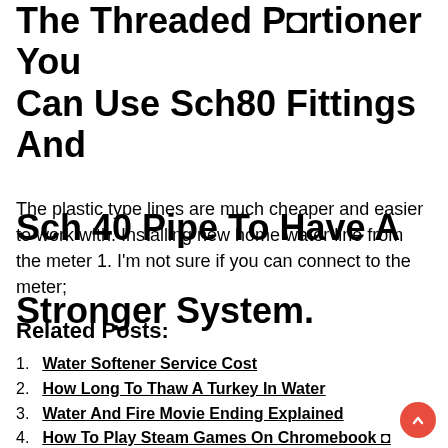The Threaded Portioner You Can Use Sch80 Fittings And Sch 40 Pipe To Have A Stronger System.
The plastic type lines are much cheaper and easier to work with. Installing new home water line from the meter 1. I'm not sure if you can connect to the meter;
Related Posts:
Water Softener Service Cost
How Long To Thaw A Turkey In Water
Water And Fire Movie Ending Explained
How To Play Steam Games On Chromebook O
Christmas Eve Candlelight Service Near Me